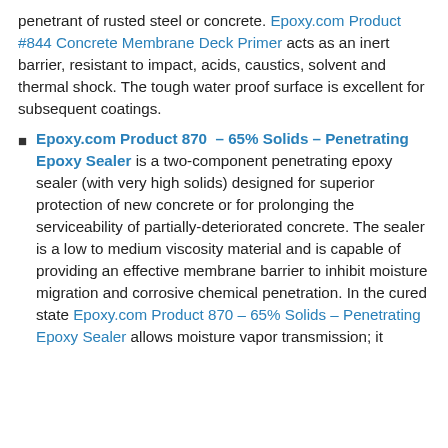penetrant of rusted steel or concrete. Epoxy.com Product #844 Concrete Membrane Deck Primer acts as an inert barrier, resistant to impact, acids, caustics, solvent and thermal shock. The tough water proof surface is excellent for subsequent coatings.
Epoxy.com Product 870 – 65% Solids – Penetrating Epoxy Sealer is a two-component penetrating epoxy sealer (with very high solids) designed for superior protection of new concrete or for prolonging the serviceability of partially-deteriorated concrete. The sealer is a low to medium viscosity material and is capable of providing an effective membrane barrier to inhibit moisture migration and corrosive chemical penetration. In the cured state Epoxy.com Product 870 – 65% Solids – Penetrating Epoxy Sealer allows moisture vapor transmission; it